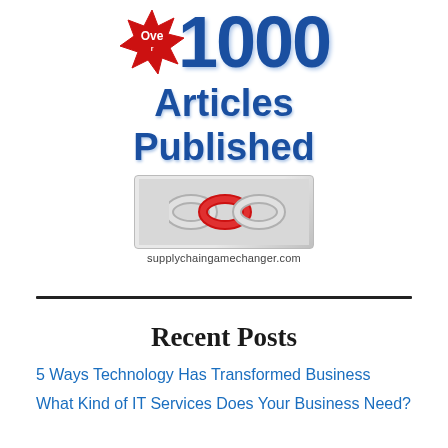[Figure (logo): Promotional graphic showing a red starburst badge with 'Over', large bold blue '1000', bold blue text 'Articles Published', chain link logo image, and 'supplychaingamechanger.com' URL]
Recent Posts
5 Ways Technology Has Transformed Business
What Kind of IT Services Does Your Business Need?